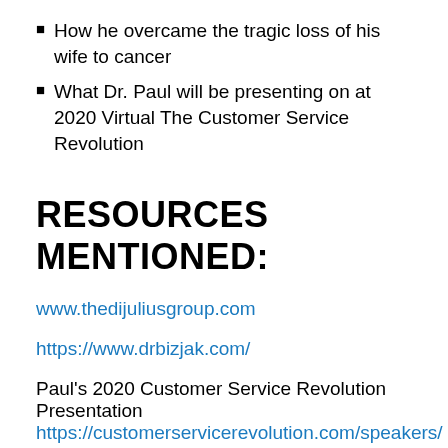How he overcame the tragic loss of his wife to cancer
What Dr. Paul will be presenting on at 2020 Virtual The Customer Service Revolution
RESOURCES MENTIONED:
www.thedijuliusgroup.com
https://www.drbizjak.com/
Paul's 2020 Customer Service Revolution Presentation
https://customerservicerevolution.com/speakers/